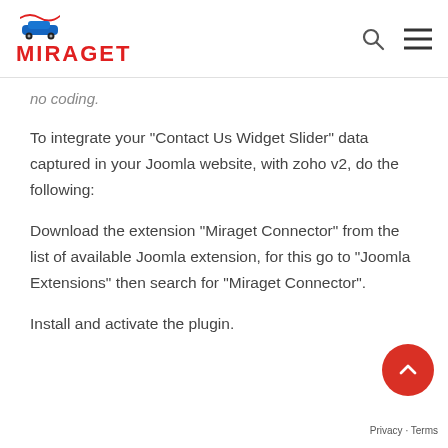MIRAGET
no coding.
To integrate your “Contact Us Widget Slider” data captured in your Joomla website, with zoho v2, do the following:
Download the extension “Miraget Connector” from the list of available Joomla extension, for this go to “Joomla Extensions” then search for “Miraget Connector”.
Install and activate the plugin.